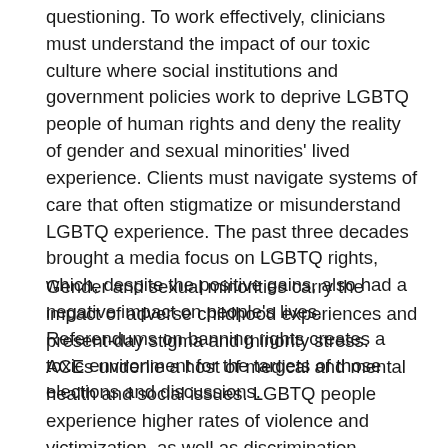questioning. To work effectively, clinicians must understand the impact of our toxic culture where social institutions and government policies work to deprive LGBTQ people of human rights and deny the reality of gender and sexual minorities' lived experience. Clients must navigate systems of care that often stigmatize or misunderstand LGBTQ experience. The past three decades brought a media focus on LGBTQ rights, which, despite the positive gains, also had a negative impact on people's lives. Referendums on banning rights creates a toxic environment for the targets of those elections and discussions.
Gender and sexual minorities carry the impact of adverse childhood experiences and present-day stigma and minority stress. ACEs underlie a host of medical and mental health and social issues. LGBTQ people experience higher rates of violence and victimization, as well as discrimination. Communities of color are at higher risk still and face the brunt of social burdens. Transgender people often have...